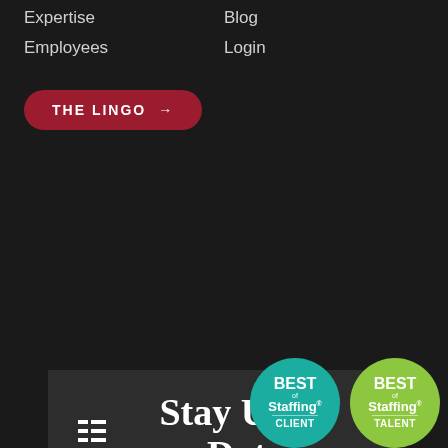Expertise
Blog
Employees
Login
THE LINGO →
Stay Up to Date
Keep up to date with the latest blog posts.
VIEW OUR Employers Blog
VIEW OUR Job Seekers Blog
[Figure (logo): Best of Staffing CLIENT badge (teal circle)]
[Figure (logo): Best of Staffing TALENT badge (green circle)]